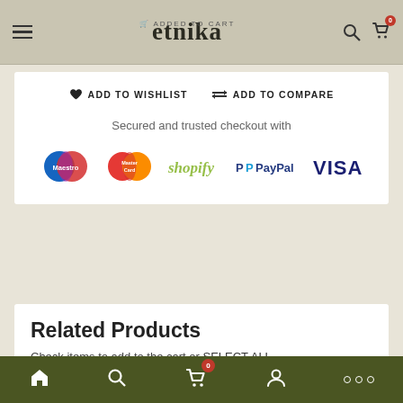etnika — ADD TO CART
♥ ADD TO WISHLIST   ⇌ ADD TO COMPARE
Secured and trusted checkout with
[Figure (logo): Payment method logos: Maestro, MasterCard, Shopify, PayPal, VISA]
Related Products
Check items to add to the cart or SELECT ALL
Bottom navigation: Home, Search, Cart (0), Account, More